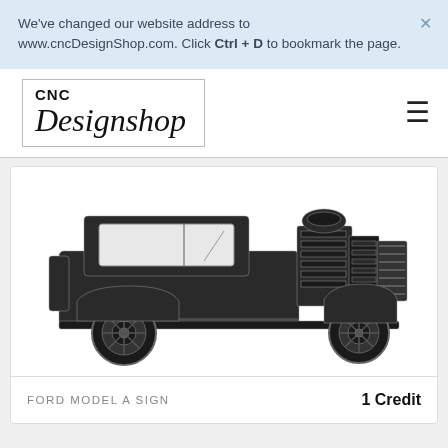We've changed our website address to www.cncDesignShop.com. Click Ctrl + D to bookmark the page.
[Figure (logo): CNC Designshop logo in a bordered box]
[Figure (illustration): Black and white illustration of a Ford Model A hot rod / custom car with exposed engine, side profile view]
FORD MODEL A SIGN
1 Credit